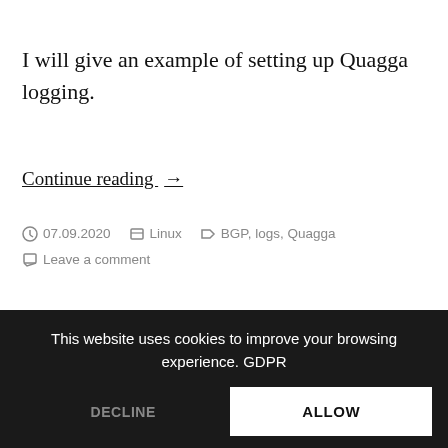I will give an example of setting up Quagga logging.
Continue reading →
07.09.2020   Linux   BGP, logs, Quagga   Leave a comment
This website uses cookies to improve your browsing experience. GDPR
DECLINE
ALLOW